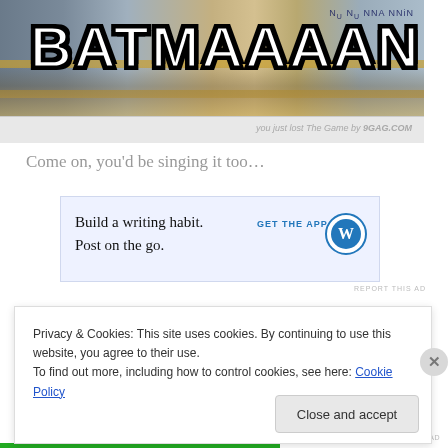[Figure (photo): Meme image of a convenience store shelf with large white Impact-font text reading BATMAAAAN overlaid on top]
you just lost The Game by 9GAG.COM
Come on, you'd be singing it too…
[Figure (screenshot): Advertisement box: Build a writing habit. Post on the go. GET THE APP with WordPress logo]
REPORT THIS AD
However cool my children are, however, unless the
Privacy & Cookies: This site uses cookies. By continuing to use this website, you agree to their use.
To find out more, including how to control cookies, see here: Cookie Policy
Close and accept